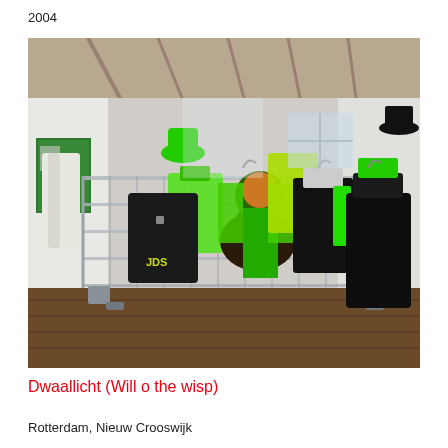2004
[Figure (photo): Exhibition installation showing costumes in black and bright green hung on a metal grid fence/barrier in a gallery space with wooden floor and white walls. Costumes include green hat, green jacket, black jacket with 'JDS' text, green and black outfits on hangers. Green posters visible on left wall.]
Dwaallicht (Will o the wisp)
Rotterdam, Nieuw Crooswijk